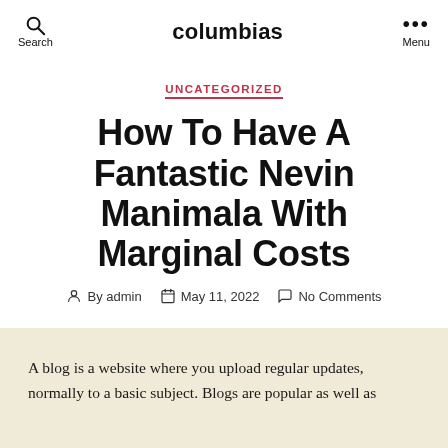columbias
UNCATEGORIZED
How To Have A Fantastic Nevin Manimala With Marginal Costs
By admin   May 11, 2022   No Comments
A blog is a website where you upload regular updates, normally to a basic subject. Blogs are popular as well as